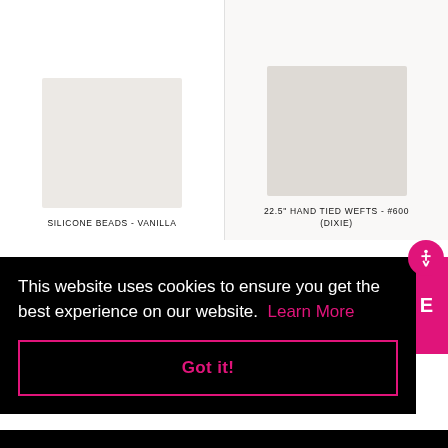[Figure (photo): Product image placeholder for Silicone Beads - Vanilla (left column, white background)]
SILICONE BEADS - VANILLA
[Figure (photo): Product image placeholder for 22.5" Hand Tied Wefts - #600 (Dixie) (right column, off-white background)]
22.5" HAND TIED WEFTS - #600 (DIXIE)
This website uses cookies to ensure you get the best experience on our website.  Learn More
Got it!